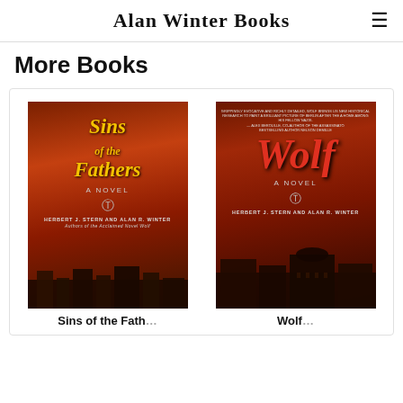Alan Winter Books
More Books
[Figure (photo): Book cover: Sins of the Fathers — A Novel by Herbert J. Stern and Alan R. Winter, Authors of the Acclaimed Novel Wolf. Dark red/orange background with gothic title text in yellow and a swastika symbol.]
[Figure (photo): Book cover: Wolf — A Novel by Herbert J. Stern and Alan R. Winter. Dark red background with large red gothic title text, a swastika symbol, and a grand building silhouette.]
Sins of the Fathers
Wolf